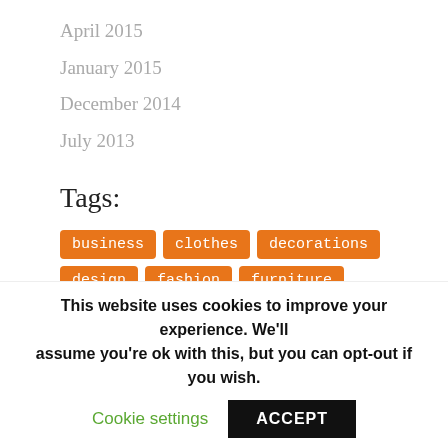April 2015
January 2015
December 2014
July 2013
Tags:
business  clothes  decorations  design  fashion  furniture  house  interior  interior design  Internet  light  money  people  price  products  room  walls
This website uses cookies to improve your experience. We'll assume you're ok with this, but you can opt-out if you wish.
Cookie settings   ACCEPT